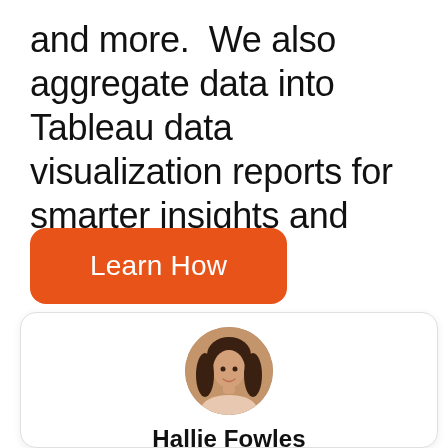and more.  We also aggregate data into Tableau data visualization reports for smarter insights and guidance.
Learn How
[Figure (photo): Circular portrait photo of Hallie Fowles, a woman with long dark hair.]
Hallie Fowles
Marketing Consultant Expert